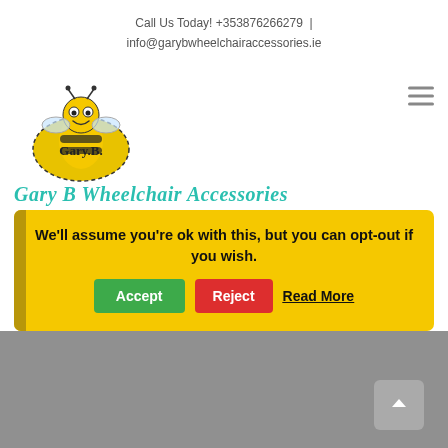Call Us Today! +353876266279 | info@garybwheelchairaccessories.ie
[Figure (logo): Gary B Wheelchair Accessories logo with bee character and cursive text 'Gary B Wheelchair Accessories']
We'll assume you're ok with this, but you can opt-out if you wish. Accept | Reject | Read More